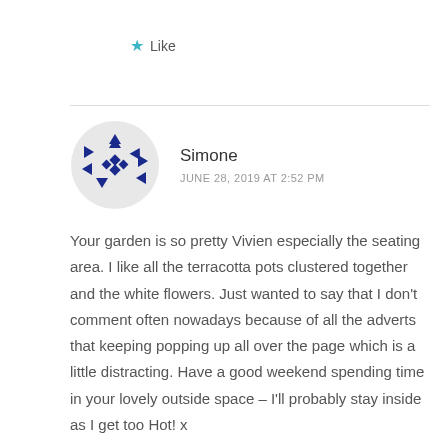★ Like
Simone
JUNE 28, 2019 AT 2:52 PM
Your garden is so pretty Vivien especially the seating area. I like all the terracotta pots clustered together and the white flowers. Just wanted to say that I don't comment often nowadays because of all the adverts that keeping popping up all over the page which is a little distracting. Have a good weekend spending time in your lovely outside space – I'll probably stay inside as I get too Hot! x